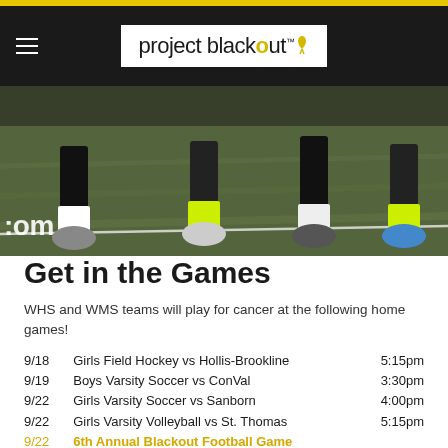[Figure (screenshot): Project Blackout website header with logo on dark background and hamburger menu icon]
[Figure (photo): Close-up photo of soccer players' feet and legs running on a grass field, with partial text '.com' visible in lower left corner]
Get in the Games
WHS and WMS teams will play for cancer at the following home games!
9/18   Girls Field Hockey vs Hollis-Brookline   5:15pm
9/19   Boys Varsity Soccer vs ConVal   3:30pm
9/22   Girls Varsity Soccer vs Sanborn   4:00pm
9/22   Girls Varsity Volleyball vs St. Thomas   5:15pm
9/22   6th Annual Blackout Football Game